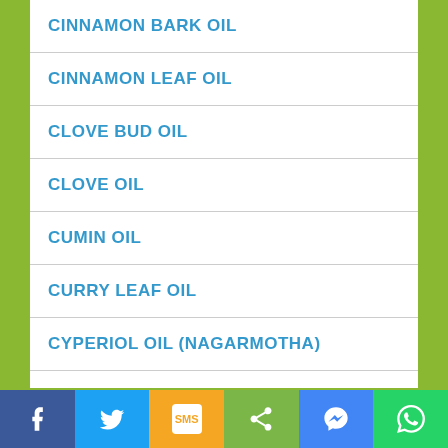CINNAMON BARK OIL
CINNAMON LEAF OIL
CLOVE BUD OIL
CLOVE OIL
CUMIN OIL
CURRY LEAF OIL
CYPERIOL OIL (NAGARMOTHA)
DAVANA OIL
DILL SEED OIL